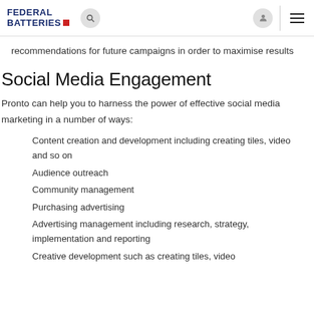Federal Batteries [nav bar with search, user, and menu icons]
recommendations for future campaigns in order to maximise results
Social Media Engagement
Pronto can help you to harness the power of effective social media marketing in a number of ways:
Content creation and development including creating tiles, video and so on
Audience outreach
Community management
Purchasing advertising
Advertising management including research, strategy, implementation and reporting
Creative development such as creating tiles, video